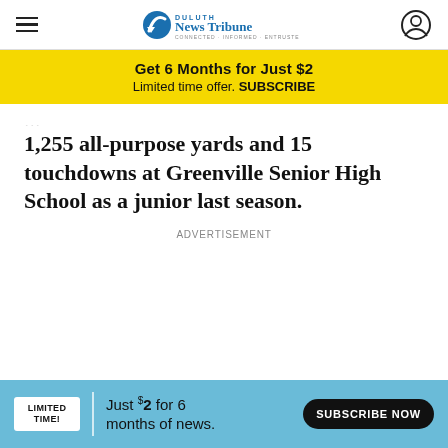Duluth News Tribune
Get 6 Months for Just $2
Limited time offer. SUBSCRIBE
1,255 all-purpose yards and 15 touchdowns at Greenville Senior High School as a junior last season.
ADVERTISEMENT
LIMITED TIME! Just $2 for 6 months of news. SUBSCRIBE NOW